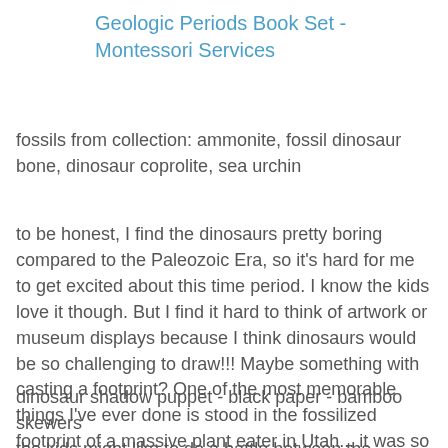Geologic Periods Book Set - Montessori Services
fossils from collection: ammonite, fossil dinosaur bone, dinosaur coprolite, sea urchin
to be honest, I find the dinosaurs pretty boring compared to the Paleozoic Era, so it's hard for me to get excited about this time period. I know the kids love it though. But I find it hard to think of artwork or museum displays because I think dinosaurs would be so challenging to draw!!! Maybe something with casting a footprint? One of the most memorable things I've ever done is stood in the fossilized footprint of a massive plant eater in Utah... it was so DEEP and so you knew right away this guy was HEAVY
dinosaur shadow puppet - black paper - bamboo skewers
the kids might like to do a battle between the